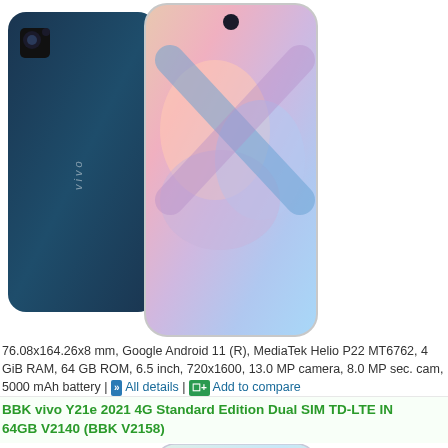[Figure (photo): Two vivo smartphones shown back-to-back and front-facing, dark teal/blue color, showing camera module and colorful gradient display screen]
76.08x164.26x8 mm, Google Android 11 (R), MediaTek Helio P22 MT6762, 4 GiB RAM, 64 GB ROM, 6.5 inch, 720x1600, 13.0 MP camera, 8.0 MP sec. cam, 5000 mAh battery | )) All details | [IE+ Add to compare
BBK vivo Y21e 2021 4G Standard Edition Dual SIM TD-LTE IN 64GB V2140 (BBK V2158)
[Figure (photo): Two vivo smartphones shown back-to-back and front-facing, light purple/lavender color, showing quad camera module and colorful gradient display screen]